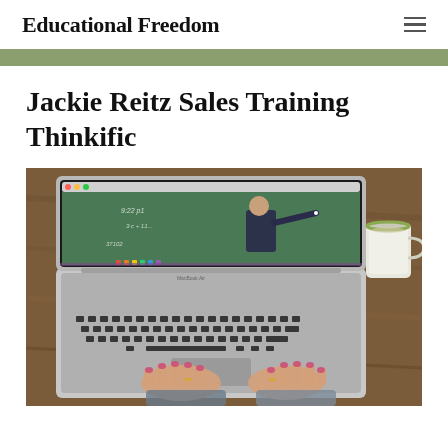Educational Freedom
Jackie Reitz Sales Training Thinkific
[Figure (photo): A person typing on a MacBook Air laptop showing a video of a teacher writing on a chalkboard, with a coffee cup on the right side, placed on a wooden desk surface.]